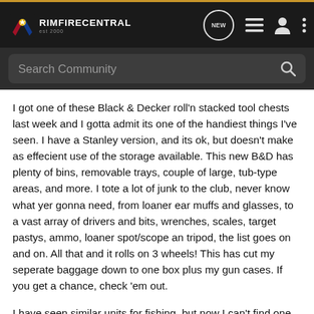RIMFIRECENTRAL
I got one of these Black & Decker roll'n stacked tool chests last week and I gotta admit its one of the handiest things I've seen. I have a Stanley version, and its ok, but doesn't make as effecient use of the storage available. This new B&D has plenty of bins, removable trays, couple of large, tub-type areas, and more. I tote a lot of junk to the club, never know what yer gonna need, from loaner ear muffs and glasses, to a vast array of drivers and bits, wrenches, scales, target pastys, ammo, loaner spot/scope an tripod, the list goes on and on. All that and it rolls on 3 wheels! This has cut my seperate baggage down to one box plus my gun cases. If you get a chance, check 'em out.
I have seen similar units for fishing, but now I can't find one to save my life, figured with all those lure compartments it'd be a